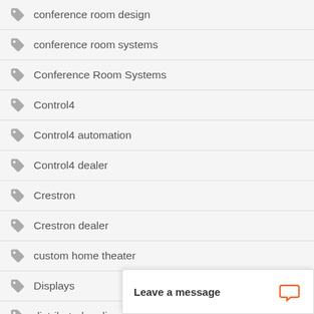conference room design
conference room systems
Conference Room Systems
Control4
Control4 automation
Control4 dealer
Crestron
Crestron dealer
custom home theater
Displays
distributed audio
Drapes
exterior motorized shades
Google
Google Home
hi-fi audio
Leave a message